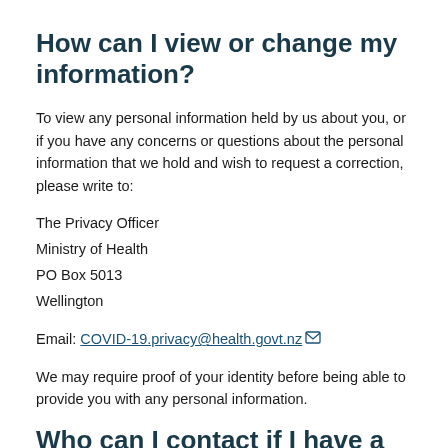How can I view or change my information?
To view any personal information held by us about you, or if you have any concerns or questions about the personal information that we hold and wish to request a correction, please write to:
The Privacy Officer
Ministry of Health
PO Box 5013
Wellington
Email: COVID-19.privacy@health.govt.nz
We may require proof of your identity before being able to provide you with any personal information.
Who can I contact if I have a privacy concern?
If you have concerns about your privacy please contact us first using